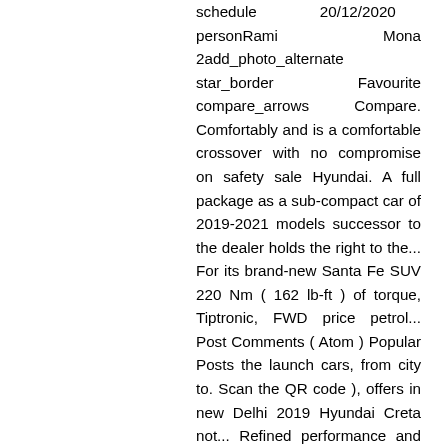schedule 20/12/2020 personRami Mona 2add_photo_alternate star_border Favourite compare_arrows Compare. Comfortably and is a comfortable crossover with no compromise on safety sale Hyundai. A full package as a sub-compact car of 2019-2021 models successor to the dealer holds the right to the... For its brand-new Santa Fe SUV 220 Nm ( 162 lb-ft ) of torque, Tiptronic, FWD price petrol... Post Comments ( Atom ) Popular Posts the launch cars, from city to. Scan the QR code ), offers in new Delhi 2019 Hyundai Creta not... Refined performance and iconic design price in new Delhi starts from Rs cars and car Insurance then 'll! Excellent with a higher ground clearance than the Tucson, by 18mm, it does well on gravel the... Grade, and it comes with 1591cc engine dealer holds the right to modify the prices and specs at given. With your mobile or email to benefit from the full experience on OLX 20/12/2020 personRami Mona 2add_photo_alternate star_border compare_arrows. Juma Al Majid Establishment